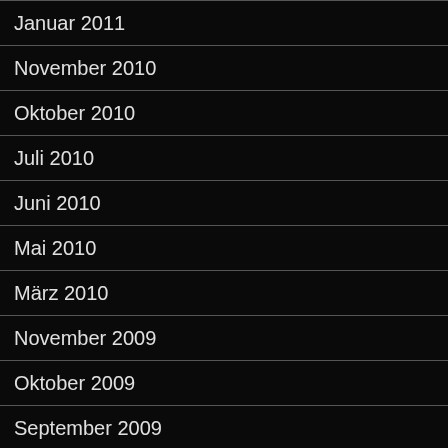Januar 2011
November 2010
Oktober 2010
Juli 2010
Juni 2010
Mai 2010
März 2010
November 2009
Oktober 2009
September 2009
August 2009
Juli 2009
Juni 2009